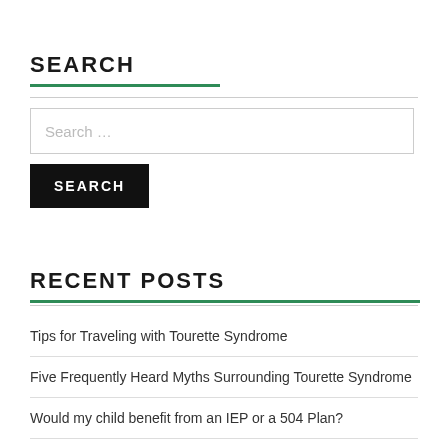SEARCH
Search …
SEARCH
RECENT POSTS
Tips for Traveling with Tourette Syndrome
Five Frequently Heard Myths Surrounding Tourette Syndrome
Would my child benefit from an IEP or a 504 Plan?
Are Tourette's Syndrome and Asperger's Syndrome Related?
The Genetics of Tourettes Syndrome with Marc Schmidt, PhD.